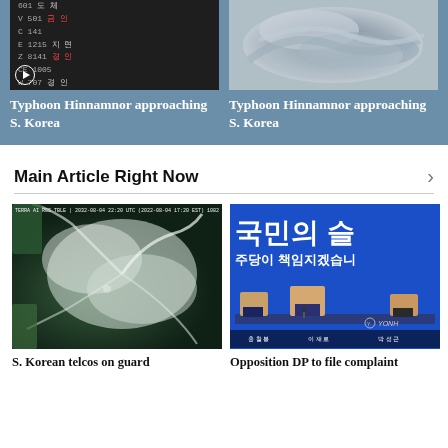[Figure (screenshot): Typhoon Hinnamnor approaching S. Korea - scoreboard/stock ticker screen with Korean text]
Typhoon Hinnamnor approaching S. Korea
[Figure (photo): Typhoon Hinnamnor approaching S. Korea - swirling storm clouds overhead]
Typhoon Hinnamnor approaching S. Korea
Main Article Right Now
[Figure (photo): S. Korean telcos on guard - satellite image of typhoon with red circle marking the eye]
S. Korean telcos on guard
[Figure (photo): Opposition DP to file complaint - Korean politicians at press conference with blue backdrop showing Korean text]
Opposition DP to file complaint